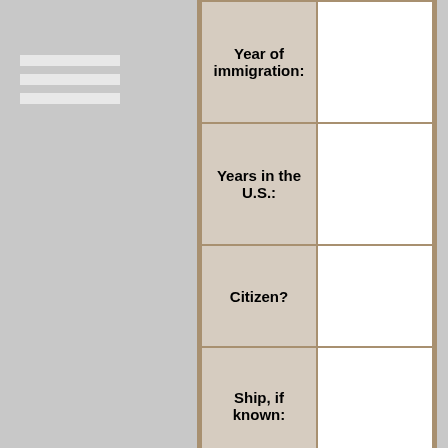| Field | Value |
| --- | --- |
| Year of immigration: |  |
| Years in the U.S.: |  |
| Citizen? |  |
| Ship, if known: |  |
PULLMAN HISTORY
[Figure (logo): Pullman logo - circular badge with 'TRAVEL AND SLEEP' text around top, 'SAFETY AND COMFORT' around bottom, with a Pullman rail car in the center and PULLMAN text across the middle]
The Property at 11353 Champlain was known as 353